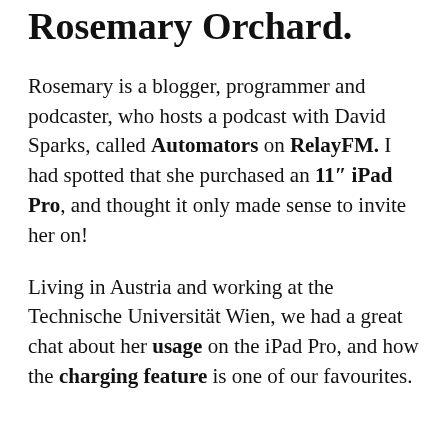Rosemary Orchard.
Rosemary is a blogger, programmer and podcaster, who hosts a podcast with David Sparks, called Automators on RelayFM. I had spotted that she purchased an 11" iPad Pro, and thought it only made sense to invite her on!
Living in Austria and working at the Technische Universität Wien, we had a great chat about her usage on the iPad Pro, and how the charging feature is one of our favourites.